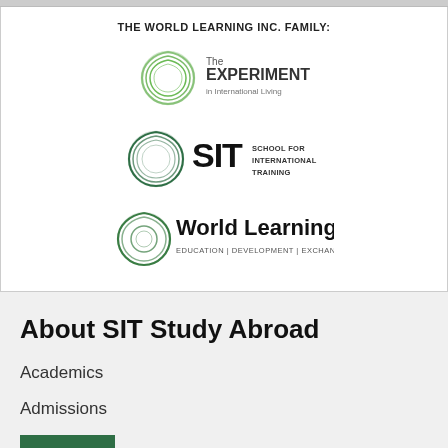THE WORLD LEARNING INC. FAMILY:
[Figure (logo): The Experiment in International Living logo — green swirling circle with text 'The EXPERIMENT in International Living']
[Figure (logo): SIT School for International Training logo — dark green swirling circle with bold SIT letters and text 'SCHOOL FOR INTERNATIONAL TRAINING']
[Figure (logo): World Learning logo — green circle with text 'World Learning EDUCATION | DEVELOPMENT | EXCHANGE']
About SIT Study Abroad
Academics
Admissions
APPLY
Alumni